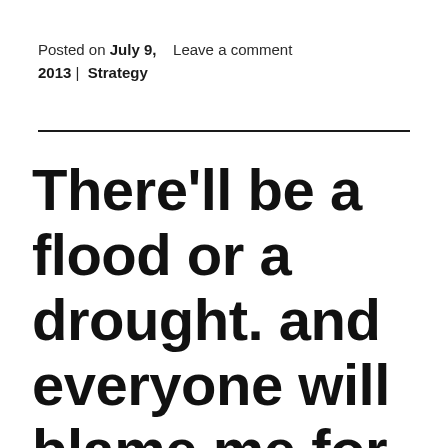Posted on July 9, 2013 | Strategy    Leave a comment
There'll be a flood or a drought. and everyone will blame me for it.